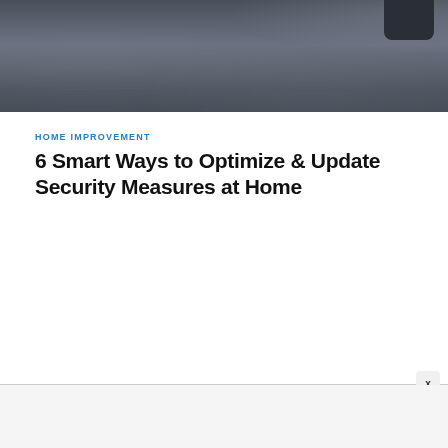[Figure (photo): Dark gray concrete or stone surface photo, partially visible at top of page, with a dark round security camera visible at top right]
HOME IMPROVEMENT
6 Smart Ways to Optimize & Update Security Measures at Home